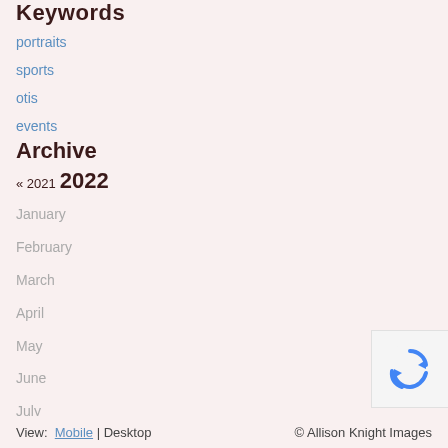Keywords
portraits
sports
otis
events
Archive
« 2021 2022
January
February
March
April
May
June
July
August
September
[Figure (other): reCAPTCHA verification widget showing recycling arrows logo]
View: Mobile | Desktop © Allison Knight Images